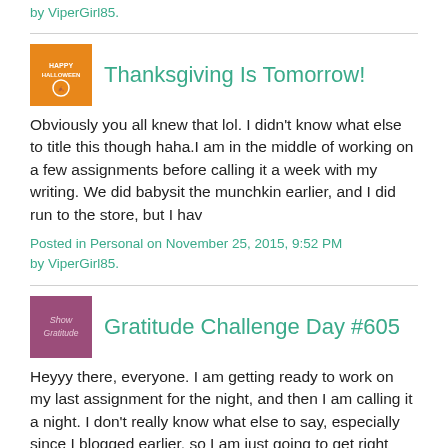by ViperGirl85.
[Figure (illustration): Orange thumbnail image with Halloween/Thanksgiving theme text]
Thanksgiving Is Tomorrow!
Obviously you all knew that lol. I didn't know what else to title this though haha.I am in the middle of working on a few assignments before calling it a week with my writing. We did babysit the munchkin earlier, and I did run to the store, but I hav
Posted in Personal on November 25, 2015, 9:52 PM by ViperGirl85.
[Figure (illustration): Pink/purple gradient thumbnail with 'Show Gratitude' text]
Gratitude Challenge Day #605
Heyyy there, everyone. I am getting ready to work on my last assignment for the night, and then I am calling it a night. I don't really know what else to say, especially since I blogged earlier, so I am just going to get right down to the Gratitude Challen
Posted in Personal on November 24, 2015, 11:03 PM